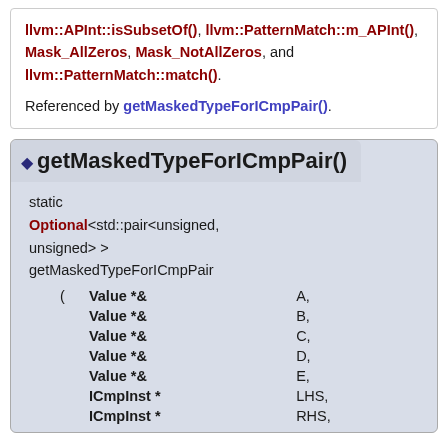llvm::APInt::isSubsetOf(), llvm::PatternMatch::m_APInt(), Mask_AllZeros, Mask_NotAllZeros, and llvm::PatternMatch::match().
Referenced by getMaskedTypeForICmpPair().
getMaskedTypeForICmpPair()
static Optional<std::pair<unsigned, unsigned> > getMaskedTypeForICmpPair ( Value *& A, Value *& B, Value *& C, Value *& D, Value *& E, ICmpInst * LHS, ICmpInst * RHS,